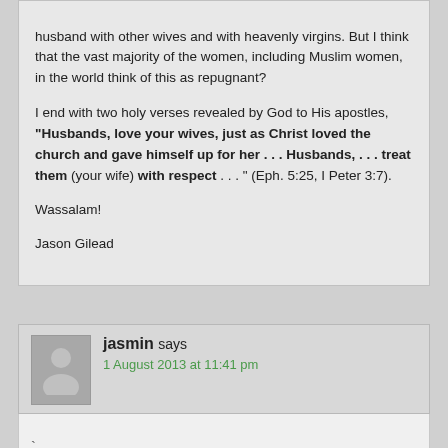husband with other wives and with heavenly virgins. But I think that the vast majority of the women, including Muslim women, in the world think of this as repugnant?

I end with two holy verses revealed by God to His apostles, "Husbands, love your wives, just as Christ loved the church and gave himself up for her . . . Husbands, . . . treat them (your wife) with respect . . . " (Eph. 5:25, I Peter 3:7).

Wassalam!

Jason Gilead
jasmin says
1 August 2013 at 11:41 pm
Dear Friends: We highly value all comments on our website.